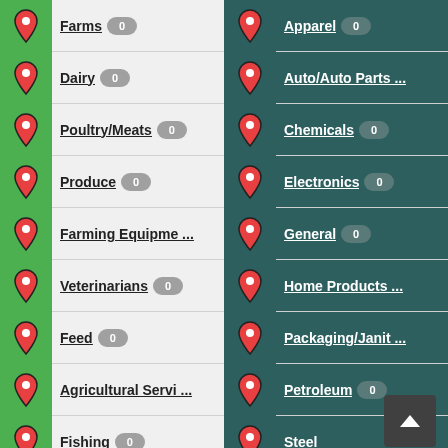Farms 0
Apparel 0
Dairy 0
Auto/Auto Parts ...
Poultry/Meats 0
Chemicals 0
Produce 0
Electronics 0
Farming Equipme... 0
General 0
Veterinarians 0
Home Products ...
Feed 0
Packaging/Janit...
Agricultural Servi...
Petroleum 0
Fishing 0
Steel ...
Fertilizer/Pest C...
Vending 0